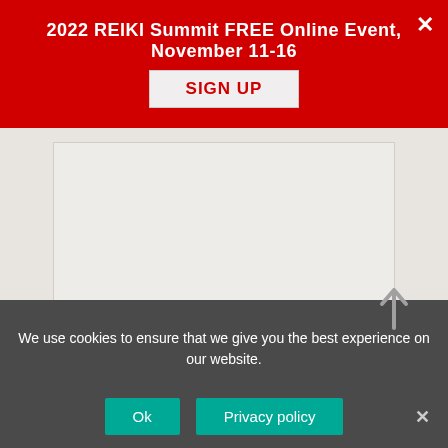2022 REIKI Summit FREE Online Event, November 11-16
SIGN UP
[Figure (other): Large light gray/beige content area with an embedded lighter inner rectangle, representing a webpage main content area]
We use cookies to ensure that we give you the best experience on our website.
Ok
Privacy policy